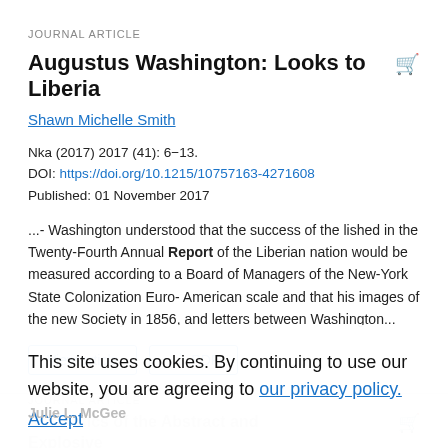JOURNAL ARTICLE
Augustus Washington: Looks to Liberia
Shawn Michelle Smith
Nka (2017) 2017 (41): 6−13.
DOI: https://doi.org/10.1215/10757163-4271608
Published: 01 November 2017
...- Washington understood that the success of the lished in the Twenty-Fourth Annual Report of the Liberian nation would be measured according to a Board of Managers of the New-York State Colonization Euro-American scale and that his images of the new Society in 1856, and letters between Washington...
View article  PDF
This site uses cookies. By continuing to use our website, you are agreeing to our privacy policy. Accept